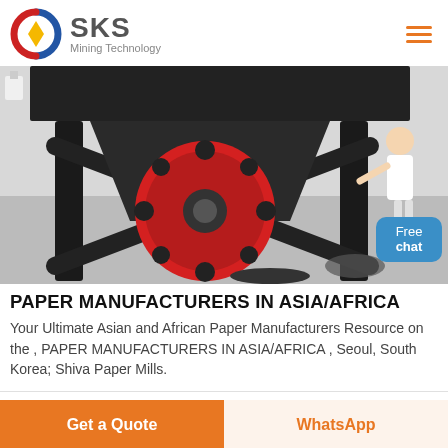[Figure (logo): SKS Mining Technology logo with circular red/blue/yellow emblem and company name]
[Figure (photo): Industrial jaw crusher machine with red flywheel/pulley on black steel frame in a workshop setting, with a person and Free chat button overlay]
PAPER MANUFACTURERS IN ASIA/AFRICA
Your Ultimate Asian and African Paper Manufacturers Resource on the , PAPER MANUFACTURERS IN ASIA/AFRICA , Seoul, South Korea; Shiva Paper Mills.
Get a Quote | WhatsApp